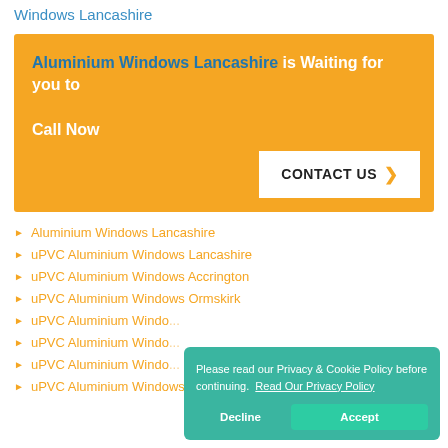Windows Lancashire
Aluminium Windows Lancashire is Waiting for you to Call Now
CONTACT US
Aluminium Windows Lancashire
uPVC Aluminium Windows Lancashire
uPVC Aluminium Windows Accrington
uPVC Aluminium Windows Ormskirk
uPVC Aluminium Windo...
uPVC Aluminium Windo...
uPVC Aluminium Windo...
uPVC Aluminium Windows Bolton-by-Bowland
Please read our Privacy & Cookie Policy before continuing. Read Our Privacy Policy
Decline
Accept